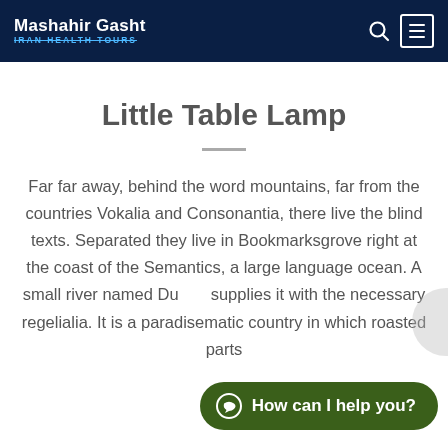Mashahir Gasht | IRAN HEALTH TOURS
Little Table Lamp
Far far away, behind the word mountains, far from the countries Vokalia and Consonantia, there live the blind texts. Separated they live in Bookmarksgrove right at the coast of the Semantics, a large language ocean. A small river named Du... supplies it with the necessary regelialia. It is a paradisematic country in which roasted parts...